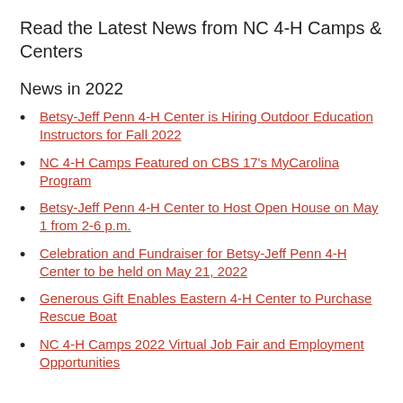Read the Latest News from NC 4-H Camps & Centers
News in 2022
Betsy-Jeff Penn 4-H Center is Hiring Outdoor Education Instructors for Fall 2022
NC 4-H Camps Featured on CBS 17's MyCarolina Program
Betsy-Jeff Penn 4-H Center to Host Open House on May 1 from 2-6 p.m.
Celebration and Fundraiser for Betsy-Jeff Penn 4-H Center to be held on May 21, 2022
Generous Gift Enables Eastern 4-H Center to Purchase Rescue Boat
NC 4-H Camps 2022 Virtual Job Fair and Employment Opportunities